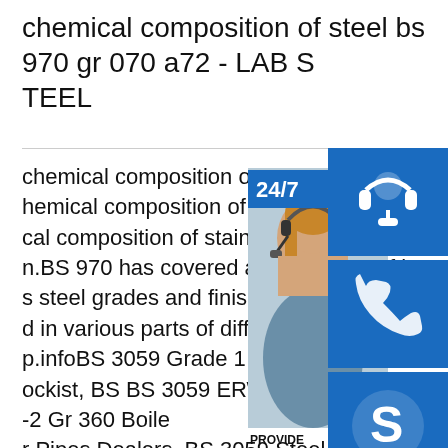chemical composition of steel bs 970 gr 070 a72 - LAB STEEL
chemical composition of steel bs 970 gr chemical composition of stainless steels t cal composition of stainless steels to BS n.BS 970 has covered a wide range of lo s steel grades and finishes.Stainless stee d in various parts of different issues of B p.infoBS 3059 Grade 1 Pipes, BS 3059 G ockist, BS BS 3059 ERW Pipes, BS 3059 -2 Gr 360 Boiler Pipes Dealers, BS 3059 Steel Pipes, BS 3059 Steel Boiler and Superheater Tubes Exporters, BS 3059 Tubing, BS 3059 Seamless Pipes, BS 3059 Carbon Steel Heat Exchanger Tubes, BS 3059-1:1987 Pipes Stockist. BS 3059 Gr 1 Tubes is the widely used in various parts consistent
[Figure (infographic): Customer service overlay widget showing a woman with a headset, 24/7 badge, headset icon, phone icon, Skype icon, PROVIDE Empowering Customers label, and orange 'online live' button]